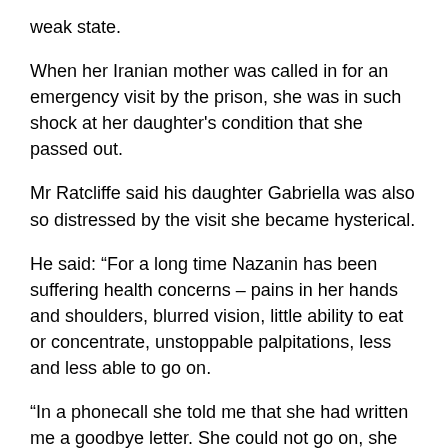weak state.
When her Iranian mother was called in for an emergency visit by the prison, she was in such shock at her daughter's condition that she passed out.
Mr Ratcliffe said his daughter Gabriella was also so distressed by the visit she became hysterical.
He said: “For a long time Nazanin has been suffering health concerns – pains in her hands and shoulders, blurred vision, little ability to eat or concentrate, unstoppable palpitations, less and less able to go on.
“In a phonecall she told me that she had written me a goodbye letter. She could not go on, she had stopped praying, stopped believing there was another way out. She asked me to remember her love for me, and to take good care of Gabriella.